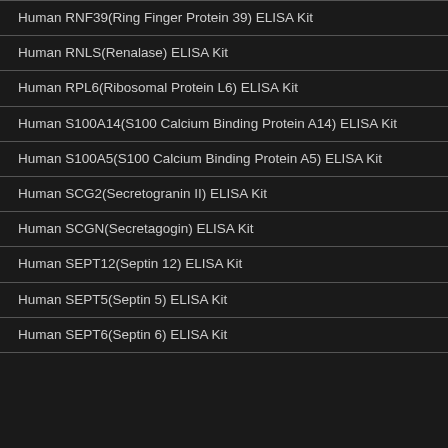Human RNF39(Ring Finger Protein 39) ELISA Kit
Human RNLS(Renalase) ELISA Kit
Human RPL6(Ribosomal Protein L6) ELISA Kit
Human S100A14(S100 Calcium Binding Protein A14) ELISA Kit
Human S100A5(S100 Calcium Binding Protein A5) ELISA Kit
Human SCG2(Secretogranin II) ELISA Kit
Human SCGN(Secretagogin) ELISA Kit
Human SEPT12(Septin 12) ELISA Kit
Human SEPT5(Septin 5) ELISA Kit
Human SEPT6(Septin 6) ELISA Kit